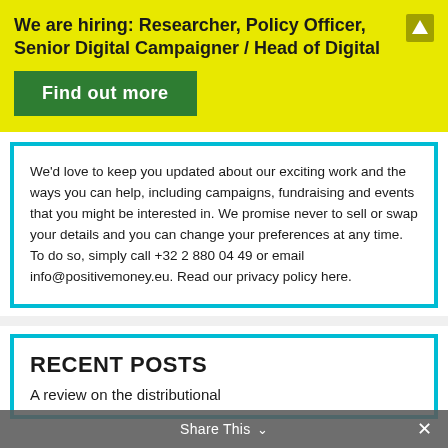We are hiring: Researcher, Policy Officer, Senior Digital Campaigner / Head of Digital
Find out more
We’d love to keep you updated about our exciting work and the ways you can help, including campaigns, fundraising and events that you might be interested in. We promise never to sell or swap your details and you can change your preferences at any time. To do so, simply call +32 2 880 04 49 or email info@positivemoney.eu. Read our privacy policy here.
RECENT POSTS
A review on the distributional
Share This